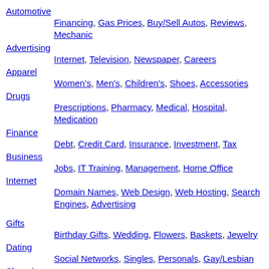Automotive
Financing, Gas Prices, Buy/Sell Autos, Reviews, Mechanic
Advertising
Internet, Television, Newspaper, Careers
Apparel
Women's, Men's, Children's, Shoes, Accessories
Drugs
Prescriptions, Pharmacy, Medical, Hospital, Medication
Finance
Debt, Credit Card, Insurance, Investment, Tax
Business
Jobs, IT Training, Management, Home Office
Internet
Domain Names, Web Design, Web Hosting, Search Engines, Advertising
Gifts
Birthday Gifts, Wedding, Flowers, Baskets, Jewelry
Dating
Social Networks, Singles, Personals, Gay/Lesbian
Shopping
Fashion, Furniture, Electronics, Apparel, Shoes
Home
Real Estate, Realtor, Weather, Home Loans, Home